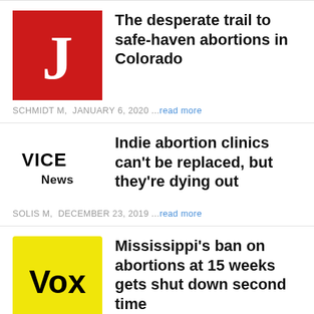[Figure (logo): Jacobin magazine red square logo with white J]
The desperate trail to safe-haven abortions in Colorado
SCHMIDT M,  JANUARY 6, 2020 ...read more
[Figure (logo): VICE News logo in black]
Indie abortion clinics can't be replaced, but they're dying out
SOLIS M,  DECEMBER 23, 2019 ...read more
[Figure (logo): Vox yellow square logo with black Vox text]
Mississippi's ban on abortions at 15 weeks gets shut down second time
QUINLAN C,  DECEMBER 14, 2019 ...read more
Lifesaving treatment for babies born